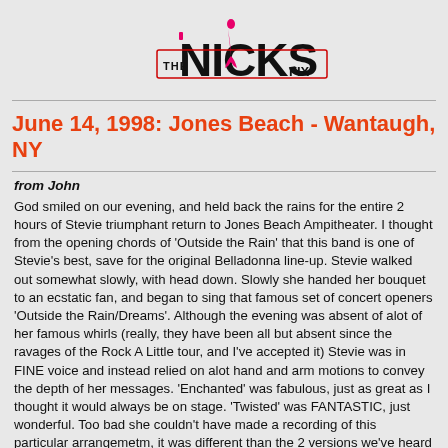[Figure (logo): The Nicks Fix logo — stylized text with pink/red coloring]
June 14, 1998: Jones Beach - Wantaugh, NY
from John
God smiled on our evening, and held back the rains for the entire 2 hours of Stevie triumphant return to Jones Beach Ampitheater. I thought from the opening chords of 'Outside the Rain' that this band is one of Stevie's best, save for the original Belladonna line-up. Stevie walked out somewhat slowly, with head down. Slowly she handed her bouquet to an ecstatic fan, and began to sing that famous set of concert openers 'Outside the Rain/Dreams'. Although the evening was absent of alot of her famous whirls (really, they have been all but absent since the ravages of the Rock A Little tour, and I've accepted it) Stevie was in FINE voice and instead relied on alot hand and arm motions to convey the depth of her messages. 'Enchanted' was fabulous, just as great as I thought it would always be on stage. 'Twisted' was FANTASTIC, just wonderful. Too bad she couldn't have made a recording of this particular arrangemetm, it was different than the 2 versions we've heard so far. The best was when Stevie approached the front of the stage during 'Twisted' and the ocean breeze made her hair blow and tamborine ribbons blow...it was, well, 'Enchanting!' Stevie looked gorgeous and thin, and her outfits were lovely, gone are those shoulder pads and those bathrobe things she wore during the 'Other Side of the Mirror' tour. Her hair was long and straight, and the wind succeeded in making a lovely mess of it as the evening went on, giving it a full and